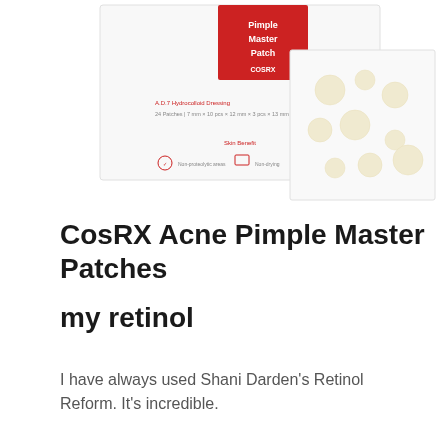[Figure (photo): CosRX Acne Pimple Master Patch product packaging — white box with red label showing 'Pimple Master Patch' branding and a separate sheet of round hydrocolloid patches on white background]
CosRX Acne Pimple Master Patches

my retinol
I have always used Shani Darden's Retinol Reform. It's incredible.